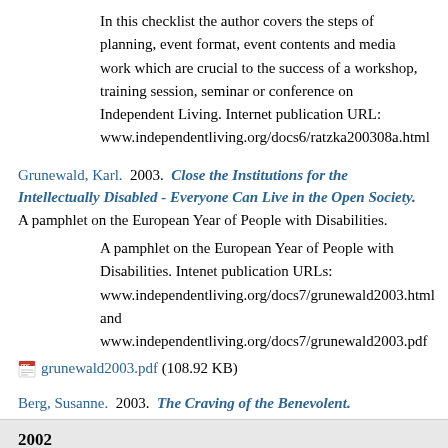In this checklist the author covers the steps of planning, event format, event contents and media work which are crucial to the success of a workshop, training session, seminar or conference on Independent Living. Internet publication URL: www.independentliving.org/docs6/ratzka200308a.html
Grunewald, Karl.  2003.  Close the Institutions for the Intellectually Disabled - Everyone Can Live in the Open Society. A pamphlet on the European Year of People with Disabilities.
A pamphlet on the European Year of People with Disabilities. Intenet publication URLs: www.independentliving.org/docs7/grunewald2003.html and www.independentliving.org/docs7/grunewald2003.pdf
grunewald2003.pdf (108.92 KB)
Berg, Susanne.  2003.  The Craving of the Benevolent.
2002